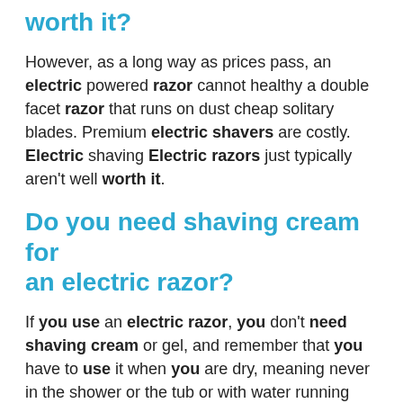worth it?
However, as a long way as prices pass, an electric powered razor cannot healthy a double facet razor that runs on dust cheap solitary blades. Premium electric shavers are costly. Electric shaving Electric razors just typically aren't well worth it.
Do you need shaving cream for an electric razor?
If you use an electric razor, you don't need shaving cream or gel, and remember that you have to use it when you are dry, meaning never in the shower or the tub or with water running from the sink. Traditional razors will